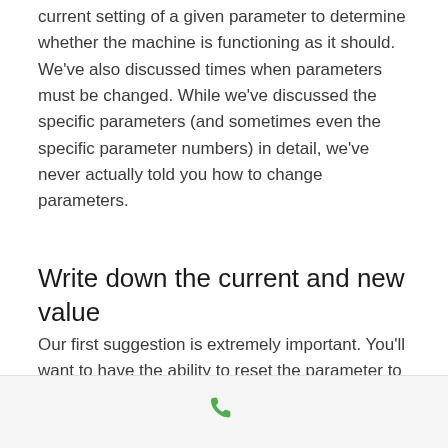current setting of a given parameter to determine whether the machine is functioning as it should. We've also discussed times when parameters must be changed. While we've discussed the specific parameters (and sometimes even the specific parameter numbers) in detail, we've never actually told you how to change parameters.
Write down the current and new value
Our first suggestion is extremely important. You'll want to have the ability to reset the parameter to its original value. You might need to do so if you make a mistake when typing the new…
[Figure (other): Green phone/call icon in a bottom navigation bar]